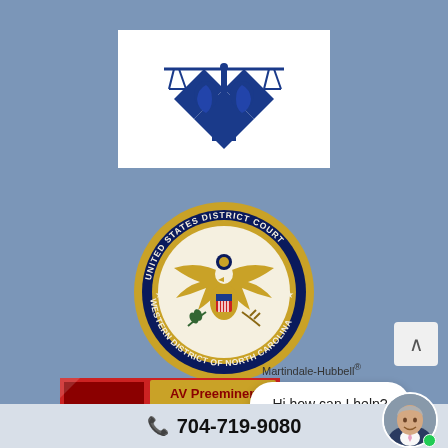[Figure (logo): Blue scales of justice with two-faced figure (Janus) on blue diamond shapes — law firm logo on white background]
[Figure (logo): United States District Court Western District of North Carolina official seal — circular gold and navy seal with eagle]
[Figure (logo): Martindale-Hubbell rating bar (red and gold)]
Martindale-Hubbell®
Hi how can I help?
704-719-9080
[Figure (photo): Headshot of older man in suit with pink tie, circular avatar with green online indicator dot]